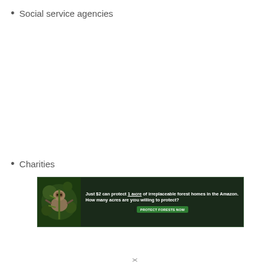Social service agencies
Charities
[Figure (other): Advertisement banner for Amazon forest protection charity. Dark green background with image of a sloth on the left. Text reads: 'Just $2 can protect 1 acre of irreplaceable forest homes in the Amazon. How many acres are you willing to protect?' with a green button labeled 'PROTECT FORESTS NOW']